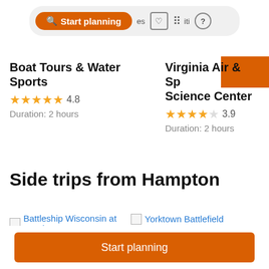[Figure (screenshot): Top navigation/search bar with orange 'Start planning' button, heart icon, grid icon, and help icon on a pill-shaped gray background. Orange rectangle partially visible in top-right corner.]
Boat Tours & Water Sports
★★★★★ 4.8
Duration: 2 hours
Virginia Air & Space Science Center
★★★★☆ 3.9
Duration: 2 hours
Side trips from Hampton
Battleship Wisconsin at Nauticus
Yorktown Battlefield
Start planning